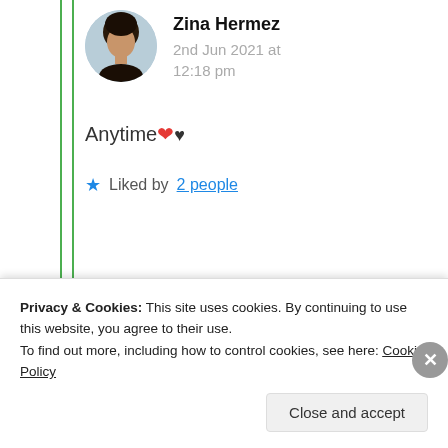[Figure (photo): Circular avatar photo of Zina Hermez, a woman with dark hair]
Zina Hermez
2nd Jun 2021 at 12:18 pm
Anytime ❤♥
★ Liked by 2 people
Advertisements
Professionally designed sites in less
Privacy & Cookies: This site uses cookies. By continuing to use this website, you agree to their use.
To find out more, including how to control cookies, see here: Cookie Policy
Close and accept